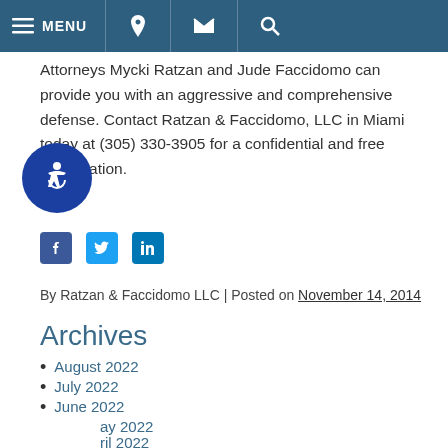MENU [phone] [email] [search]
Attorneys Mycki Ratzan and Jude Faccidomo can provide you with an aggressive and comprehensive defense. Contact Ratzan & Faccidomo, LLC in Miami today at (305) 330-3905 for a confidential and free consultation.
[Figure (infographic): Social media sharing icons: Facebook (blue square), Twitter (light blue square), LinkedIn (blue square)]
By Ratzan & Faccidomo LLC | Posted on November 14, 2014
Archives
August 2022
July 2022
June 2022
May 2022
April 2022
Categories